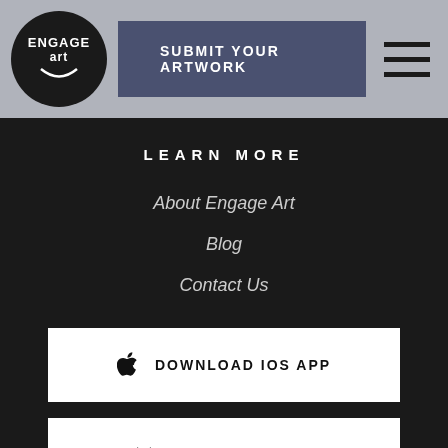SUBMIT YOUR ARTWORK
LEARN MORE
About Engage Art
Blog
Contact Us
DOWNLOAD IOS APP
DOWNLOAD APP
VISIT THE APP ONLINE